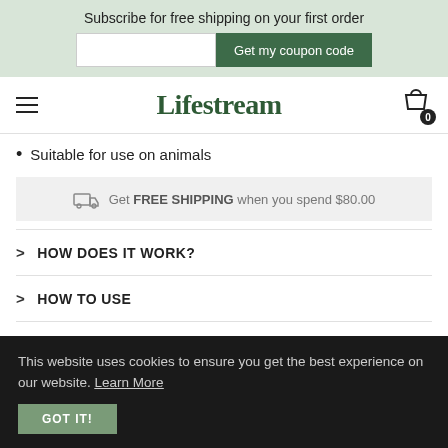Subscribe for free shipping on your first order
Get my coupon code
[Figure (logo): Lifestream brand logo in dark green serif font]
Suitable for use on animals
Get FREE SHIPPING when you spend $80.00
HOW DOES IT WORK?
HOW TO USE
FAQS
This website uses cookies to ensure you get the best experience on our website. Learn More
GOT IT!